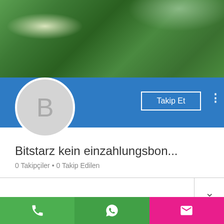[Figure (screenshot): Mobile app profile page screenshot showing a header with outdoor/tree photo background, blue banner, circular avatar with letter B, a 'Takip Et' (Follow) button, three-dot menu, profile name 'Bitstarz kein einzahlungsbon...', follower stats '0 Takipçiler • 0 Takip Edilen', expandable section row, Profil section header, and bottom navigation bar with phone, WhatsApp, and email icons.]